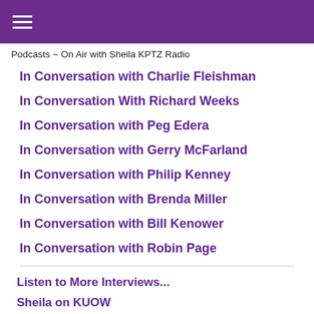≡
Podcasts ~ On Air with Sheila KPTZ Radio
In Conversation with Charlie Fleishman
In Conversation With Richard Weeks
In Conversation with Peg Edera
In Conversation with Gerry McFarland
In Conversation with Philip Kenney
In Conversation with Brenda Miller
In Conversation with Bill Kenower
In Conversation with Robin Page
Listen to More Interviews...
Sheila on KUOW
The Writing Show: Writing the Personal Essay